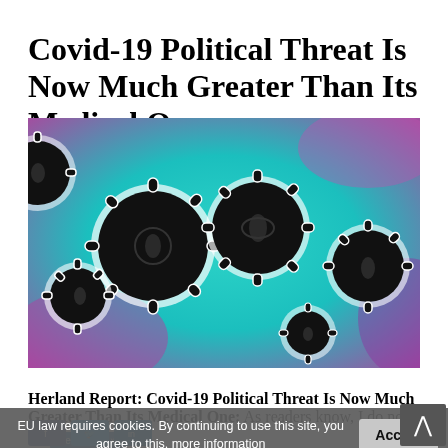Covid-19 Political Threat Is Now Much Greater Than Its Medical One
[Figure (photo): Microscopic image of coronavirus particles (SARS-CoV-2) shown in teal/cyan and purple colors, with characteristic spike proteins visible as white-outlined spherical virus particles against a colorful background.]
Herland Report: Covid-19 Political Threat Is Now Much Greater Than Its Medical One: As readers know, I do not